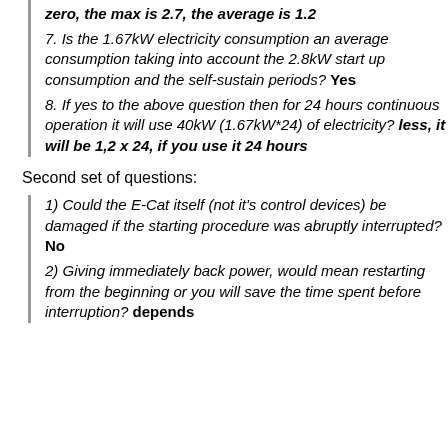zero, the max is 2.7, the average is 1.2
7. Is the 1.67kW electricity consumption an average consumption taking into account the 2.8kW start up consumption and the self-sustain periods? Yes
8. If yes to the above question then for 24 hours continuous operation it will use 40kW (1.67kW*24) of electricity? less, it will be 1,2 x 24, if you use it 24 hours
Second set of questions:
1) Could the E-Cat itself (not it's control devices) be damaged if the starting procedure was abruptly interrupted? No
2) Giving immediately back power, would mean restarting from the beginning or you will save the time spent before interruption? depends